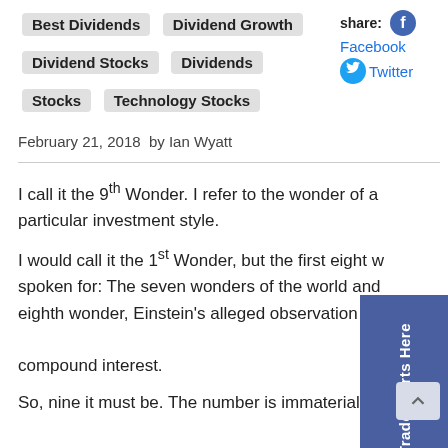Best Dividends
Dividend Growth
Dividend Stocks
Dividends
Stocks
Technology Stocks
share: Facebook Twitter
February 21, 2018  by Ian Wyatt
I call it the 9th Wonder. I refer to the wonder of a particular investment style. I would call it the 1st Wonder, but the first eight were already spoken for: The seven wonders of the world and the eighth wonder, Einstein's alleged observation on compound interest. So, nine it must be. The number is immaterial, the investing results are anything but. Dividend growth investing is the 9th Wonder. I know of no other investing style more repeatedly successful at